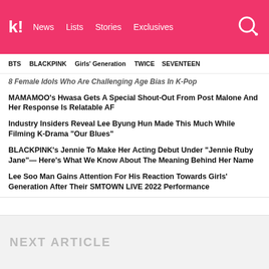k! News Lists Stories Exclusives
BTS   BLACKPINK   Girls' Generation   TWICE   SEVENTEEN
8 Female Idols Who Are Challenging Age Bias In K-Pop
MAMAMOO's Hwasa Gets A Special Shout-Out From Post Malone And Her Response Is Relatable AF
Industry Insiders Reveal Lee Byung Hun Made This Much While Filming K-Drama "Our Blues"
BLACKPINK's Jennie To Make Her Acting Debut Under "Jennie Ruby Jane"— Here's What We Know About The Meaning Behind Her Name
Lee Soo Man Gains Attention For His Reaction Towards Girls' Generation After Their SMTOWN LIVE 2022 Performance
NEXT ARTICLE